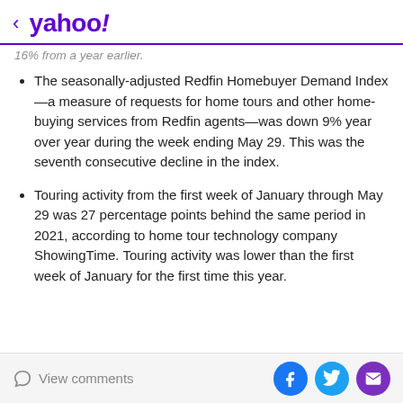< yahoo!
16% from a year earlier.
The seasonally-adjusted Redfin Homebuyer Demand Index—a measure of requests for home tours and other home-buying services from Redfin agents—was down 9% year over year during the week ending May 29. This was the seventh consecutive decline in the index.
Touring activity from the first week of January through May 29 was 27 percentage points behind the same period in 2021, according to home tour technology company ShowingTime. Touring activity was lower than the first week of January for the first time this year.
View comments